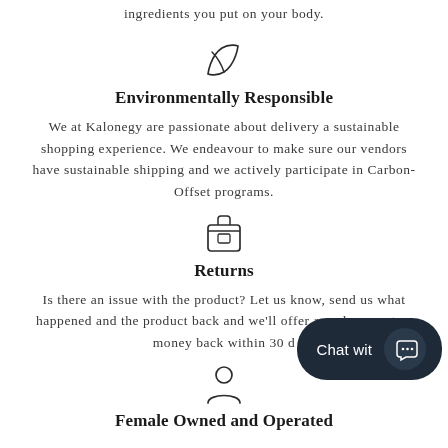ingredients you put on your body.
[Figure (illustration): Leaf icon (eco/natural symbol)]
Environmentally Responsible
We at Kalonegy are passionate about delivery a sustainable shopping experience. We endeavour to make sure our vendors have sustainable shipping and we actively participate in Carbon-Offset programs.
[Figure (illustration): Package/box icon (returns symbol)]
Returns
Is there an issue with the product? Let us know, send us what happened and the product back and we'll offer a replacement or money back within 30 d...
[Figure (illustration): Person/user icon]
Female Owned and Operated